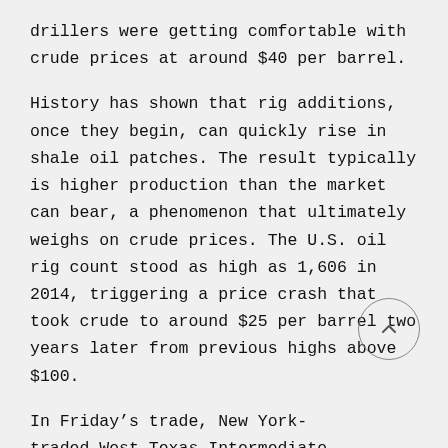drillers were getting comfortable with crude prices at around $40 per barrel.
History has shown that rig additions, once they begin, can quickly rise in shale oil patches. The result typically is higher production than the market can bear, a phenomenon that ultimately weighs on crude prices. The U.S. oil rig count stood as high as 1,606 in 2014, triggering a price crash that took crude to around $25 per barrel two years later from previous highs above $100.
In Friday's trade, New York-traded West Texas Intermediate, the benchmark for U.S. crude futures, settled down 48 cents, or 1.1%, at 42.34 per barrel.